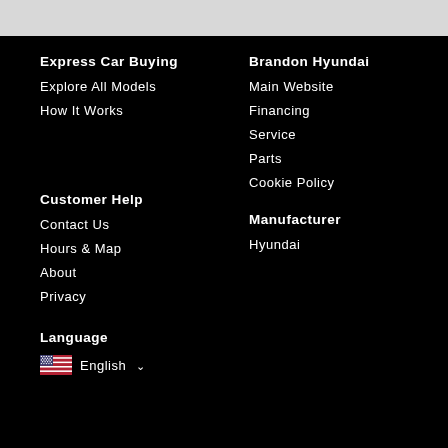Express Car Buying
Explore All Models
How It Works
Brandon Hyundai
Main Website
Financing
Service
Parts
Cookie Policy
Customer Help
Contact Us
Hours & Map
About
Privacy
Manufacturer
Hyundai
Language
English